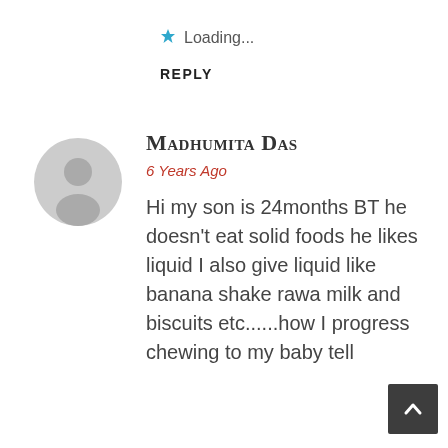★ Loading...
REPLY
Madhumita Das
6 Years Ago
Hi my son is 24months BT he doesn't eat solid foods he likes liquid I also give liquid like banana shake rawa milk and biscuits etc......how I progress chewing to my baby tell
[Figure (illustration): Gray placeholder avatar circle with silhouette of a person]
[Figure (illustration): Dark gray back-to-top button with upward chevron arrow]